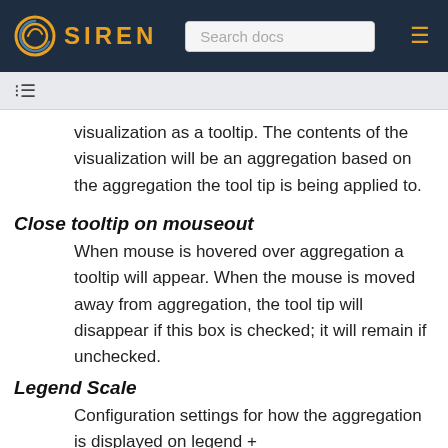SIREN | Search docs
visualization as a tooltip. The contents of the visualization will be an aggregation based on the aggregation the tool tip is being applied to.
Close tooltip on mouseout
When mouse is hovered over aggregation a tooltip will appear. When the mouse is moved away from aggregation, the tool tip will disappear if this box is checked; it will remain if unchecked.
Legend Scale
Configuration settings for how the aggregation is displayed on legend +
Dynamic - Linear - Each class in the legend has the same size (e.g. values from 0 to 16 and 4